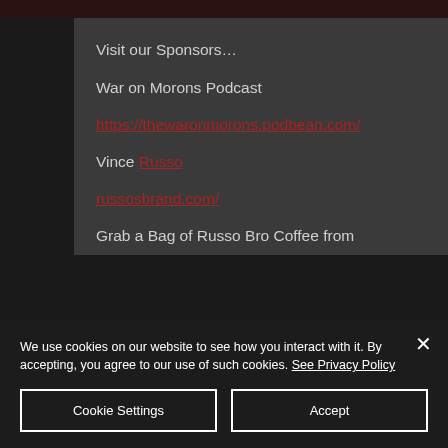Visit our Sponsors…
War on Morons Podcast
https://thewaronmorons.podbean.com/
Vince Russo
russosbrand.com/
Grab a Bag of Russo Bro Coffee from
We use cookies on our website to see how you interact with it. By accepting, you agree to our use of such cookies. See Privacy Policy
Cookie Settings
Accept